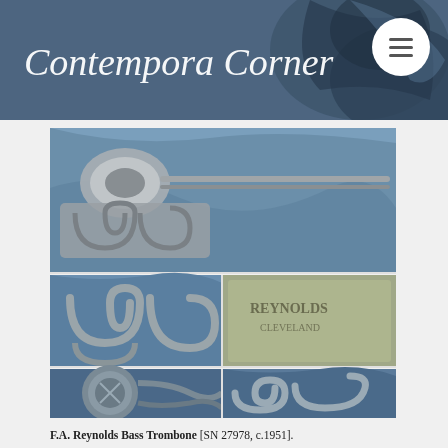Contempora Corner
[Figure (photo): Collage of 5 photos showing a vintage F.A. Reynolds Bass Trombone instrument from multiple angles: full instrument view on blue fabric (top), detail of slide mechanism (middle left), engraved bell/brand marking (middle right), valve mechanism closeup (bottom left), and slide detail (bottom right).]
F.A. Reynolds Bass Trombone [SN 27978, c.1951].